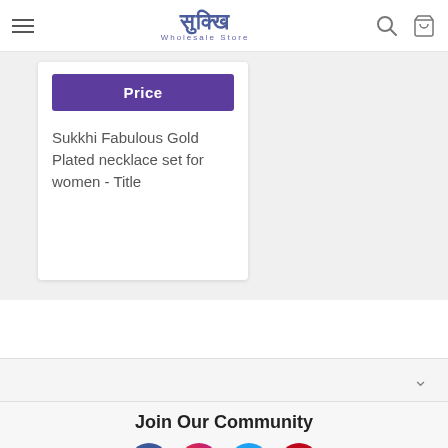Sukkhi Wholesale Store — navigation header with hamburger menu, logo, search and cart icons
[Figure (screenshot): Purple 'Price' button on a product card]
Sukkhi Fabulous Gold Plated necklace set for women - Title
[Figure (other): Chevron/dropdown expand icon]
Join Our Community
[Figure (other): Social media icons: Facebook, Instagram, Twitter, Pinterest]